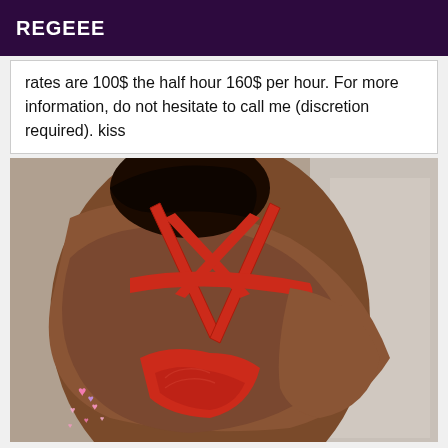REGEEE
rates are 100$ the half hour 160$ per hour. For more information, do not hesitate to call me (discretion required). kiss
[Figure (photo): Person wearing a red strappy bikini top, photographed from behind/side on a bed with grey bedding. Small heart emoji stickers visible in lower left corner.]